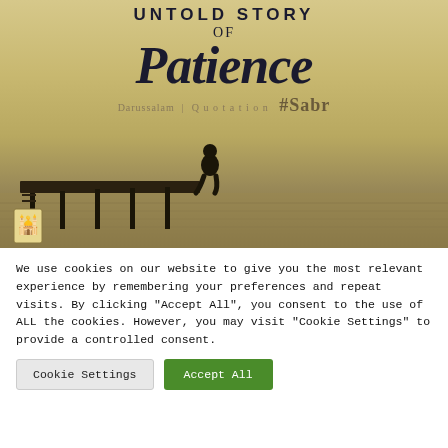[Figure (illustration): Book cover or inspirational image with text 'UNTOLD STORY OF Patience' and '#Sabr' with 'Darussalam | Quotation' subtitle. A silhouette of a person sitting on a pier over calm water, sepia/golden toned. A small logo icon in the bottom left.]
We use cookies on our website to give you the most relevant experience by remembering your preferences and repeat visits. By clicking "Accept All", you consent to the use of ALL the cookies. However, you may visit "Cookie Settings" to provide a controlled consent.